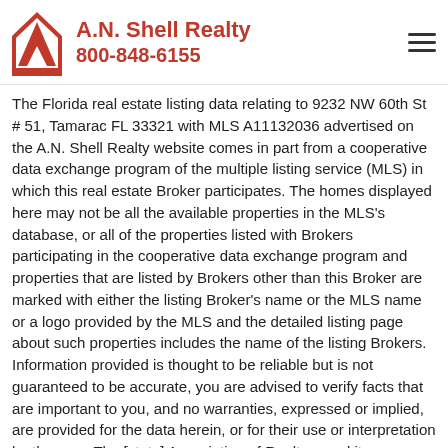A.N. Shell Realty 800-848-6155
The Florida real estate listing data relating to 9232 NW 60th St # 51, Tamarac FL 33321 with MLS A11132036 advertised on the A.N. Shell Realty website comes in part from a cooperative data exchange program of the multiple listing service (MLS) in which this real estate Broker participates. The homes displayed here may not be all the available properties in the MLS's database, or all of the properties listed with Brokers participating in the cooperative data exchange program and properties that are listed by Brokers other than this Broker are marked with either the listing Broker's name or the MLS name or a logo provided by the MLS and the detailed listing page about such properties includes the name of the listing Brokers. Information provided is thought to be reliable but is not guaranteed to be accurate, you are advised to verify facts that are important to you, and no warranties, expressed or implied, are provided for the data herein, or for their use or interpretation by the user. The [state] Association of Realtors and its cooperating MLS's do not